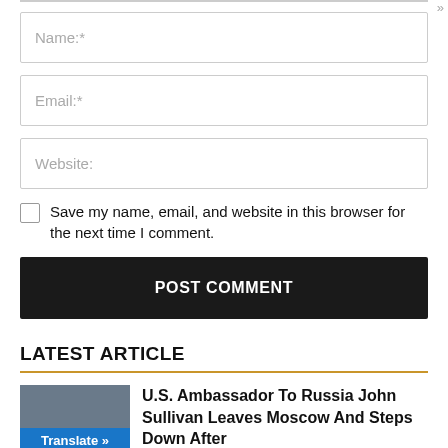Name:*
Email:*
Website:
Save my name, email, and website in this browser for the next time I comment.
POST COMMENT
LATEST ARTICLE
U.S. Ambassador To Russia John Sullivan Leaves Moscow And Steps Down After